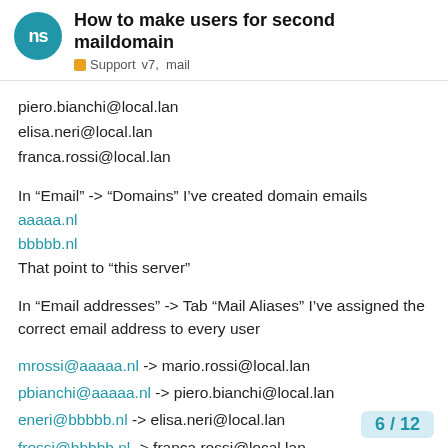How to make users for second maildomain
Support v7, mail
piero.bianchi@local.lan
elisa.neri@local.lan
franca.rossi@local.lan
In “Email” -> “Domains” I’ve created domain emails
aaaaa.nl
bbbbb.nl
That point to “this server”
In “Email addresses” -> Tab “Mail Aliases” I’ve assigned the correct email address to every user
mrossi@aaaaa.nl -> mario.rossi@local.lan
pbianchi@aaaaa.nl -> piero.bianchi@local.lan
eneri@bbbbb.nl -> elisa.neri@local.lan
frossi@bbbbb.nl -> franca.rossi@local.lan
In this way you don’t risk that someone who writes at the eneri@aaaaa.nl (email that don’t have to e... delivered.
6 / 12